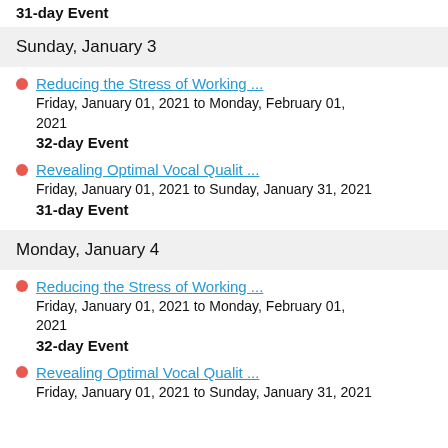31-day Event
Sunday, January 3
Reducing the Stress of Working ...
Friday, January 01, 2021 to Monday, February 01, 2021
32-day Event
Revealing Optimal Vocal Qualit ...
Friday, January 01, 2021 to Sunday, January 31, 2021
31-day Event
Monday, January 4
Reducing the Stress of Working ...
Friday, January 01, 2021 to Monday, February 01, 2021
32-day Event
Revealing Optimal Vocal Qualit ...
Friday, January 01, 2021 to Sunday, January 31, 2021